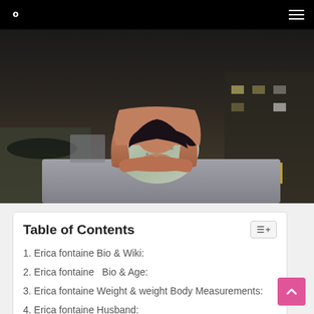Search | Menu
[Figure (photo): A young woman in a patterned dress/outfit leaning forward on a table with her arms crossed and head resting on hands, photographed outdoors at night near a parking area.]
Table of Contents
1. Erica fontaine Bio & Wiki:
2. Erica fontaine   Bio & Age:
3. Erica fontaine Weight & weight Body Measurements:
4. Erica fontaine Husband:
5. Erica fontaine Net worth:
6. Family and Relatives:
7. Social Media: